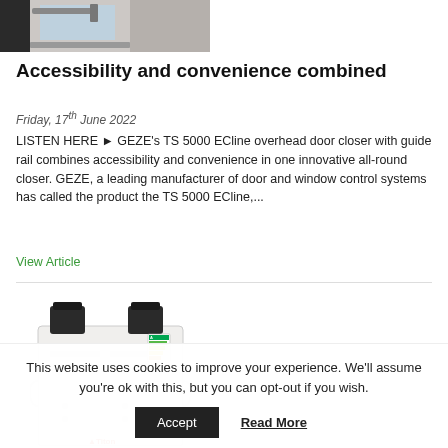[Figure (photo): Partial image of a door closer product (GEZE TS 5000 ECline) mounted on a dark door frame, partially cropped at top]
Accessibility and convenience combined
Friday, 17th June 2022
LISTEN HERE 🔊 GEZE's TS 5000 ECline overhead door closer with guide rail combines accessibility and convenience in one innovative all-round closer. GEZE, a leading manufacturer of door and window control systems has called the product the TS 5000 ECline,...
View Article
[Figure (photo): White MVHR (Mechanical Ventilation with Heat Recovery) unit with black ducting connectors on top, Titon branding visible, shown against white background]
This website uses cookies to improve your experience. We'll assume you're ok with this, but you can opt-out if you wish.
Accept
Read More